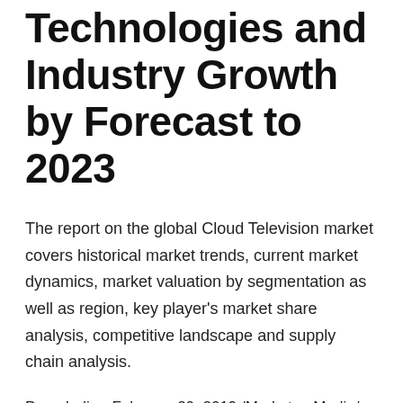Technologies and Industry Growth by Forecast to 2023
The report on the global Cloud Television market covers historical market trends, current market dynamics, market valuation by segmentation as well as region, key player's market share analysis, competitive landscape and supply chain analysis.
Pune India - February 20, 2019 /MarketersMedia/